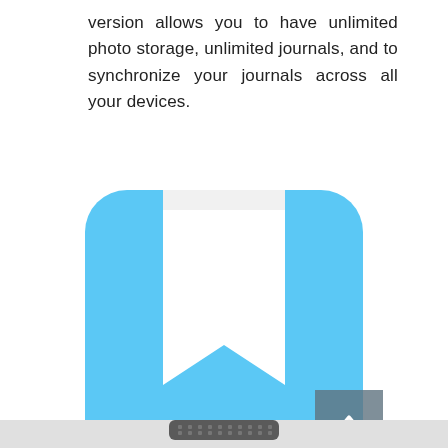version allows you to have unlimited photo storage, unlimited journals, and to synchronize your journals across all your devices.
[Figure (logo): App icon with rounded square shape in sky blue color. Contains a white bookmark/ribbon shape in the center-top area with a mountain/chevron cutout at the bottom of the white shape, giving a journal app logo appearance.]